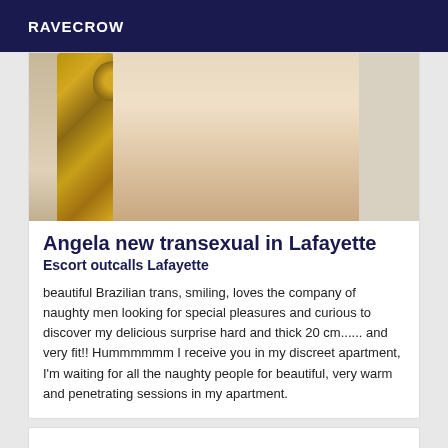RAVECROW
[Figure (photo): Photo showing legs and high-heeled shoes near an ornate gold mirror frame]
Angela new transexual in Lafayette
Escort outcalls Lafayette
beautiful Brazilian trans, smiling, loves the company of naughty men looking for special pleasures and curious to discover my delicious surprise hard and thick 20 cm...... and very fit!! Hummmmmm I receive you in my discreet apartment, I'm waiting for all the naughty people for beautiful, very warm and penetrating sessions in my apartment.